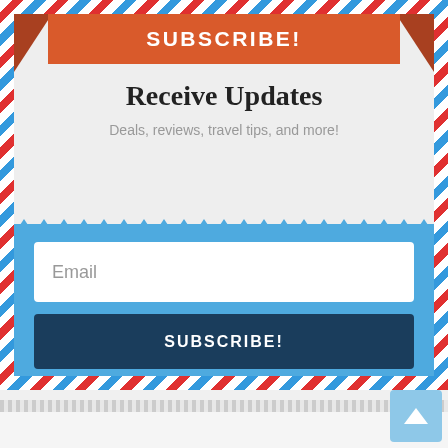[Figure (infographic): Newsletter subscription widget with airmail-style border, orange ribbon banner reading SUBSCRIBE!, gray top section with Receive Updates heading, blue bottom section with Email input field and dark blue SUBSCRIBE! button, scroll-to-top button in bottom right]
SUBSCRIBE!
Receive Updates
Deals, reviews, travel tips, and more!
Email
SUBSCRIBE!